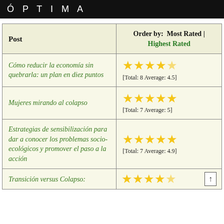Ó P T I M A
| Post | Order by: Most Rated | Highest Rated |
| --- | --- |
| Cómo reducir la economía sin quebrarla: un plan en diez puntos | ★★★★½ [Total: 8 Average: 4.5] |
| Mujeres mirando al colapso | ★★★★★ [Total: 7 Average: 5] |
| Estrategias de sensibilización para dar a conocer los problemas socio-ecológicos y promover el paso a la acción | ★★★★★ [Total: 7 Average: 4.9] |
| Transición versus Colapso: | ★★★★½ (partial) |